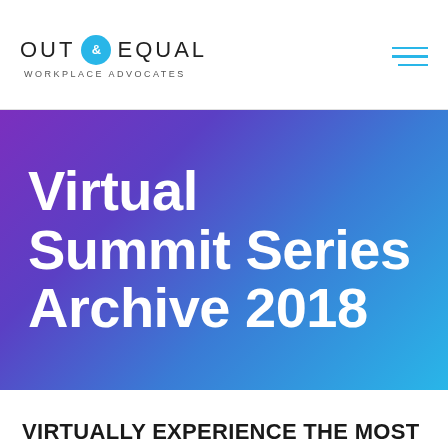OUT & EQUAL WORKPLACE ADVOCATES
Virtual Summit Series Archive 2018
VIRTUALLY EXPERIENCE THE MOST POPULAR WORKSHOPS FROM THE OUT & EQUAL WORKPLACE SUMMIT